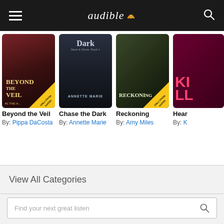audible
[Figure (other): Book cover: Beyond the Veil]
Beyond the Veil
By: Pippa DaCosta
[Figure (other): Book cover: Chase the Dark, Steel & Stone: Book 1, by Annette Marie]
Chase the Dark
By: Annette Marie
[Figure (other): Book cover: Reckoning]
Reckoning
By: Amy Miles
[Figure (other): Partial book cover: Hear...]
Hear...
By: K...
View All Categories
Find your next great listen
Try for $0.00
$14.95/month after 30 days. Cancel anytime.